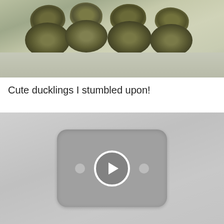[Figure (photo): Photo of cute ducklings clustered together on a light surface, viewed from above. Multiple ducklings with yellow-brown fluffy feathers visible.]
Cute ducklings I stumbled upon!
[Figure (screenshot): Video player placeholder showing a YouTube-style play button (circle with triangle) on a gray rounded rectangle background, centered on a light gray surface.]